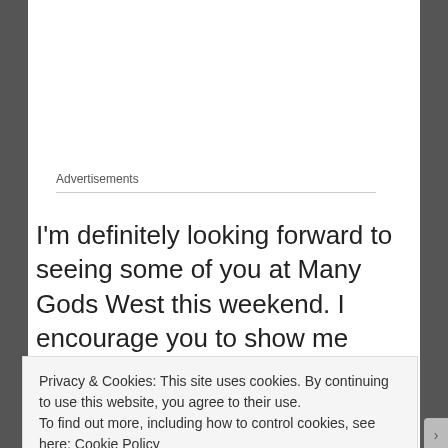Advertisements
I'm definitely looking forward to seeing some of you at Many Gods West this weekend. I encourage you to show me pictures of your kitties and puppies and birds and snakes. This has been a wonderfully exciting month. Not only has Worshiping Loki moved forward – I have a stack
Privacy & Cookies: This site uses cookies. By continuing to use this website, you agree to their use.
To find out more, including how to control cookies, see here: Cookie Policy
Close and accept